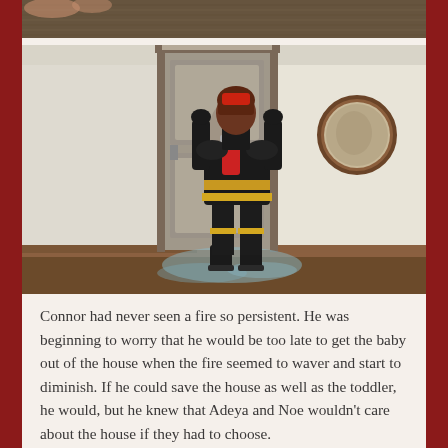[Figure (screenshot): Top cropped image showing a textured brown/tan surface, likely carpet or floor, viewed from above.]
[Figure (screenshot): A 3D rendered scene (video game style, likely The Sims) showing a firefighter character in black uniform with yellow stripes, viewed from behind, standing near a gray door in a room with cream-colored walls and a round mirror on the right wall. There is water/wetness on the floor.]
Connor had never seen a fire so persistent. He was beginning to worry that he would be too late to get the baby out of the house when the fire seemed to waver and start to diminish. If he could save the house as well as the toddler, he would, but he knew that Adeya and Noe wouldn't care about the house if they had to choose.